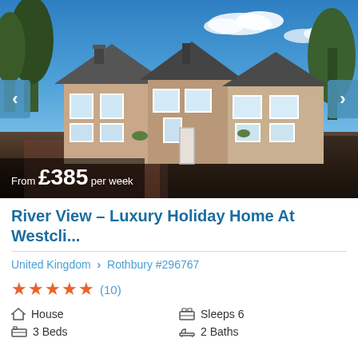[Figure (photo): Exterior photo of a large stone holiday home with multiple gabled roofs, white-framed windows, blue sky with clouds in background. Navigation arrows on left and right sides. Price overlay at bottom left reading 'From £385 per week'.]
River View – Luxury Holiday Home At Westcli...
United Kingdom > Rothbury #296767
★★★★★ (10)
House
Sleeps 6
3 Beds
2 Baths